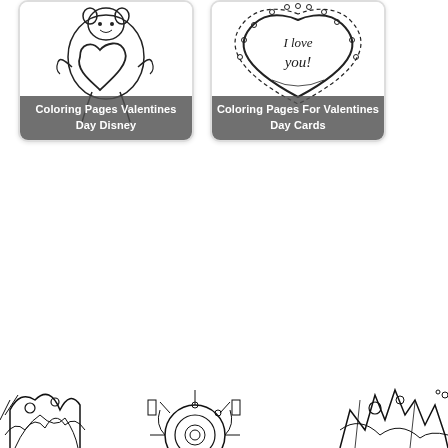[Figure (illustration): Coloring page thumbnail: cartoon character holding a large heart, black and white line art. Caption overlay reads 'Coloring Pages Valentines Day Disney'.]
[Figure (illustration): Coloring page thumbnail: decorative heart with 'I love you!' text inside, framed with lace-like border, black and white line art. Caption overlay reads 'Coloring Pages For Valentines Day Cards'.]
[Figure (illustration): Bottom strip showing coloring page thumbnails with abstract/mandala style black and white line art patterns, partially visible at the bottom of the page.]